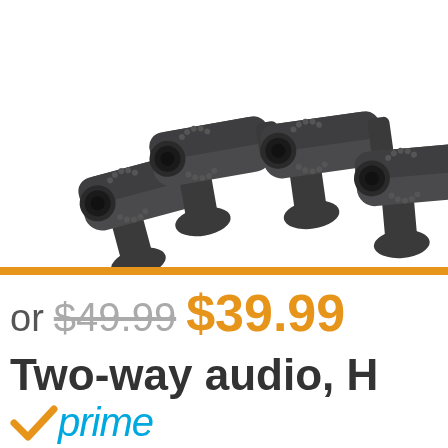[Figure (photo): Four dark gray bullet-style security cameras arranged in a group, shot from front-left angle, on white background]
or $49.99 $39.99
Two-way audio, H
[Figure (logo): Amazon Prime logo with orange checkmark and 'prime' in cyan/blue italic text]